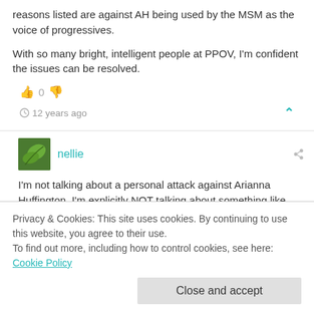reasons listed are against AH being used by the MSM as the voice of progressives.
With so many bright, intelligent people at PPOV, I'm confident the issues can be resolved.
0
12 years ago
nellie
I'm not talking about a personal attack against Arianna Huffington. I'm explicitly NOT talking about something like that. It would just seem hostile, and that's not what I have in mind.
of rhetoric. For a while, broadcasters were picking up the
Privacy & Cookies: This site uses cookies. By continuing to use this website, you agree to their use.
To find out more, including how to control cookies, see here: Cookie Policy
Close and accept